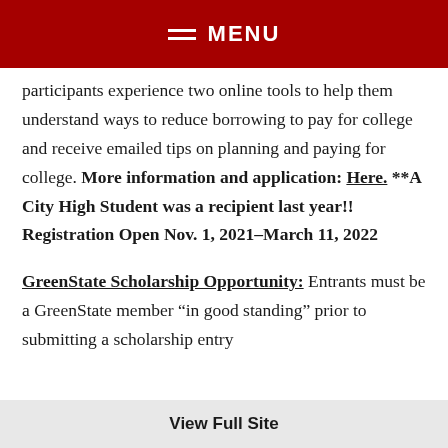MENU
participants experience two online tools to help them understand ways to reduce borrowing to pay for college and receive emailed tips on planning and paying for college. More information and application: Here.  **A City High Student was a recipient last year!! Registration Open Nov. 1, 2021–March 11, 2022
GreenState Scholarship Opportunity: Entrants must be a GreenState member “in good standing” prior to submitting a scholarship entry
View Full Site